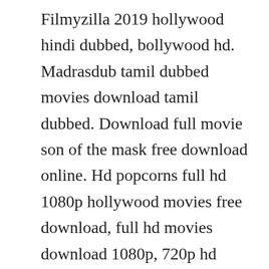Filmyzilla 2019 hollywood hindi dubbed, bollywood hd. Madrasdub tamil dubbed movies download tamil dubbed. Download full movie son of the mask free download online. Hd popcorns full hd 1080p hollywood movies free download, full hd movies download 1080p, 720p hd movies hollywood free download. Watch your favorite movies online free on putlocker. Com, madras dub, madrasdub, tamil dubbed movies download, tamil dubbed movies free download. Discover the growing collection of high quality most relevant xxx movies and clips. A walk to